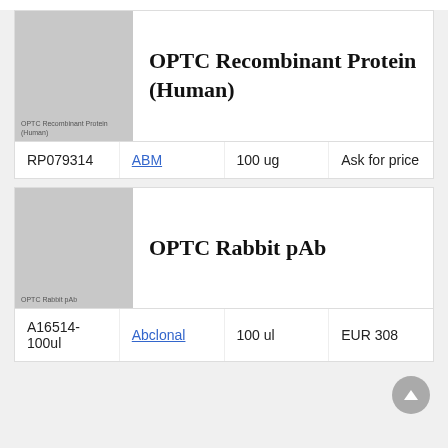[Figure (photo): Grey placeholder image for OPTC Recombinant Protein (Human) with label text]
OPTC Recombinant Protein (Human)
|  |  |  |  |
| --- | --- | --- | --- |
| RP079314 | ABM | 100 ug | Ask for price |
[Figure (photo): Grey placeholder image for OPTC Rabbit pAb with label text]
OPTC Rabbit pAb
|  |  |  |  |
| --- | --- | --- | --- |
| A16514-100ul | Abclonal | 100 ul | EUR 308 |